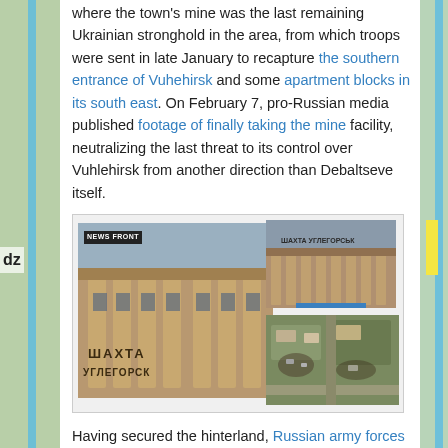where the town's mine was the last remaining Ukrainian stronghold in the area, from which troops were sent in late January to recapture the southern entrance of Vuhehirsk and some apartment blocks in its south east. On February 7, pro-Russian media published footage of finally taking the mine facility, neutralizing the last threat to its control over Vuhlehirsk from another direction than Debaltseve itself.
[Figure (photo): Composite image: left shows exterior of mine building with Cyrillic text 'ШАХТА УГЛЕГОРСК' and columns; top right shows front facade of same building; bottom right shows aerial/satellite view of the mine facility area.]
Having secured the hinterland, Russian army forces reportedly advanced north, taking Kalynivka yesterday or today with 6 armored fighting vehicles and 2 tanks said to have taken control over the strategic village, only 2.5